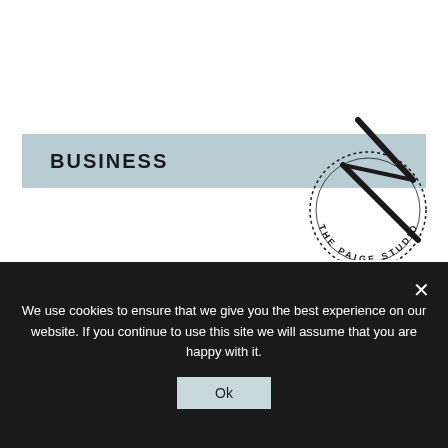BUSINESS
[Figure (logo): The Paige Studio circular stamp logo with a stylized pen/quill graphic]
DECEMBER
We use cookies to ensure that we give you the best experience on our website. If you continue to use this site we will assume that you are happy with it.